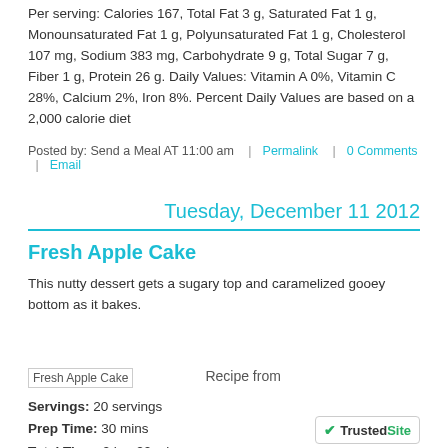Per serving: Calories 167, Total Fat 3 g, Saturated Fat 1 g, Monounsaturated Fat 1 g, Polyunsaturated Fat 1 g, Cholesterol 107 mg, Sodium 383 mg, Carbohydrate 9 g, Total Sugar 7 g, Fiber 1 g, Protein 26 g. Daily Values: Vitamin A 0%, Vitamin C 28%, Calcium 2%, Iron 8%. Percent Daily Values are based on a 2,000 calorie diet
Posted by: Send a Meal AT 11:00 am  |  Permalink  |  0 Comments  |  Email
Tuesday, December 11 2012
Fresh Apple Cake
This nutty dessert gets a sugary top and caramelized gooey bottom as it bakes.
[Figure (photo): Fresh Apple Cake image placeholder]
Recipe from
Servings: 20 servings
Prep Time: 30 mins
Total Time: 2 hrs 20 mins